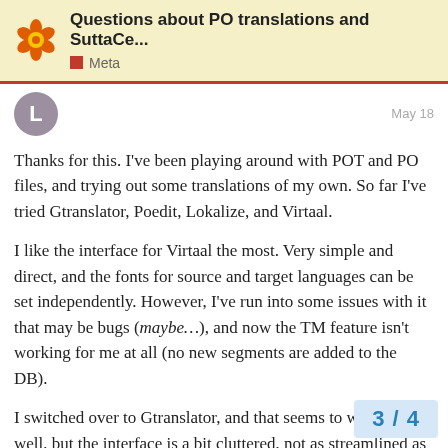Questions about PO translations and SuttaCe... | Meta
Thanks for this. I've been playing around with POT and PO files, and trying out some translations of my own. So far I've tried Gtranslator, Poedit, Lokalize, and Virtaal.
I like the interface for Virtaal the most. Very simple and direct, and the fonts for source and target languages can be set independently. However, I've run into some issues with it that may be bugs (maybe...), and now the TM feature isn't working for me at all (no new segments are added to the DB).
I switched over to Gtranslator, and that seems to work fairly well, but the interface is a bit cluttered, not as streamlined as Virtaal, and the message table fonts are kind of puny. The features all seem to work consistently w there's that...
3 / 4